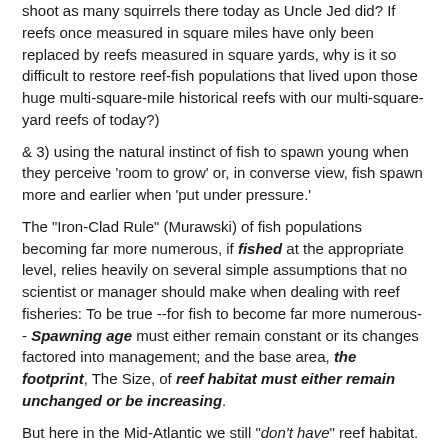shoot as many squirrels there today as Uncle Jed did? If reefs once measured in square miles have only been replaced by reefs measured in square yards, why is it so difficult to restore reef-fish populations that lived upon those huge multi-square-mile historical reefs with our multi-square-yard reefs of today?)
& 3) using the natural instinct of fish to spawn young when they perceive 'room to grow' or, in converse view, fish spawn more and earlier when 'put under pressure.'
The "Iron-Clad Rule" (Murawski) of fish populations becoming far more numerous, if fished at the appropriate level, relies heavily on several simple assumptions that no scientist or manager should make when dealing with reef fisheries: To be true --for fish to become far more numerous-- Spawning age must either remain constant or its changes factored into management; and the base area, the footprint, The Size, of reef habitat must either remain unchanged or be increasing.
But here in the Mid-Atlantic we still "don't have" reef habitat. Really. Management's not going to worry over something that's not on their NOAA issued to-do list.